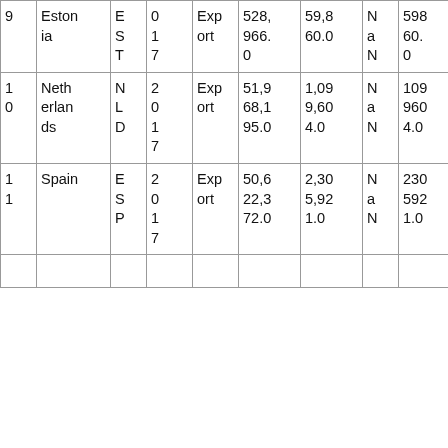| 9 | Estonia | E
S
T | 0
1
7 | Export | 528,
966.
0 | 59,8
60.0 | N
a
N | 598
60.
0 | 8.8
4 |
| 1
0 | Netherlands | N
L
D | 2
0
1
7 | Export | 51,9
68,1
95.0 | 1,09
9,60
4.0 | N
a
N | 109
960
4.0 | 47.
26 |
| 1
1 | Spain | E
S
P | 2
0
1
7 | Export | 50,6
22,3
72.0 | 2,30
5,92
1.0 | N
a
N | 230
592
1.0 | 21.
95 |
|  |  |  |  |  |  |  |  |  |  |